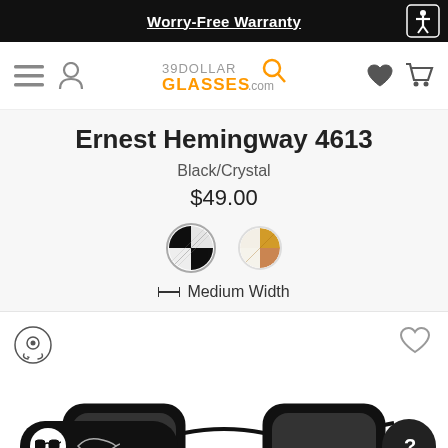Worry-Free Warranty
[Figure (screenshot): 39DollarGlasses.com logo with navigation icons: hamburger menu, user icon, heart/wishlist, shopping cart]
Ernest Hemingway 4613
Black/Crystal
$49.00
[Figure (other): Two color swatches: black/crystal (selected, with ring border) and tortoise/crystal]
↔ Medium Width
[Figure (other): Product image area showing glasses frames from front and side, with virtual try-on button, wishlist heart button, front/side view toggle, and help button]